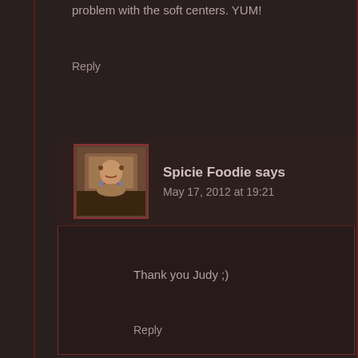problem with the soft centers. YUM!
Reply
Spicie Foodie says
May 17, 2012 at 19:21
[Figure (photo): Avatar photo of Spicie Foodie, a woman standing indoors near a window]
Thank you Judy ;)
Reply